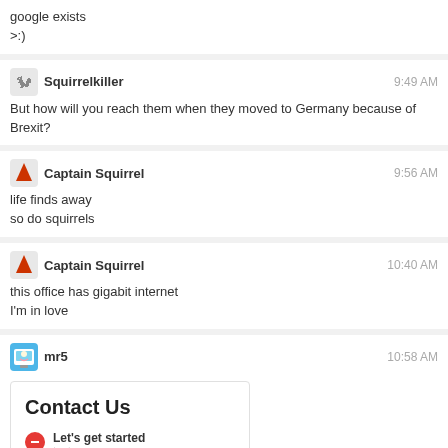google exists
>:)
Squirrelkiller 9:49 AM
But how will you reach them when they moved to Germany because of Brexit?
Captain Squirrel 9:56 AM
life finds away
so do squirrels
Captain Squirrel 10:40 AM
this office has gigabit internet
I'm in love
mr5 10:58 AM
[Figure (screenshot): Contact Us card with steps: Let's get started (testa), Confirm issue (Other), Contact options (3), and a Community option with chat icon]